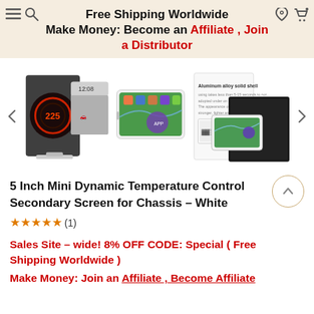Free Shipping Worldwide Make Money: Become an Affiliate , Join a Distributor
[Figure (photo): E-commerce product page carousel showing three thumbnail images of a 5-inch mini screen device. Left image shows a dark display with car dashboard graphics. Middle image shows a white tablet-like device with colorful app icons. Right image shows product in white and black box packaging with text 'Aluminum alloy solid shell'.]
5 Inch Mini Dynamic Temperature Control Secondary Screen for Chassis - White
★★★★★ (1)
Sales Site - wide! 8% OFF CODE: Special ( Free Shipping Worldwide )
Make Money: Join an Affiliate , Become Affiliate